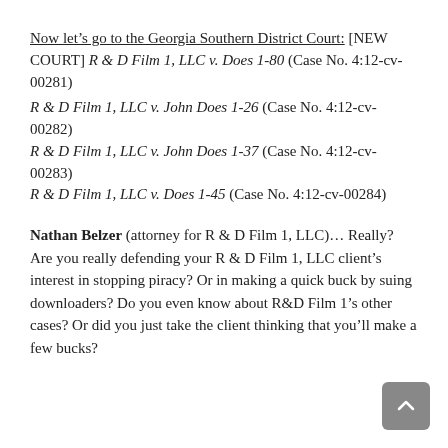Now let's go to the Georgia Southern District Court: [NEW COURT] R & D Film 1, LLC v. Does 1-80 (Case No. 4:12-cv-00281)
R & D Film 1, LLC v. John Does 1-26 (Case No. 4:12-cv-00282)
R & D Film 1, LLC v. John Does 1-37 (Case No. 4:12-cv-00283)
R & D Film 1, LLC v. Does 1-45 (Case No. 4:12-cv-00284)
Nathan Belzer (attorney for R & D Film 1, LLC)… Really? Are you really defending your R & D Film 1, LLC client's interest in stopping piracy? Or in making a quick buck by suing downloaders? Do you even know about R&D Film 1's other cases? Or did you just take the client thinking that you'll make a few bucks?